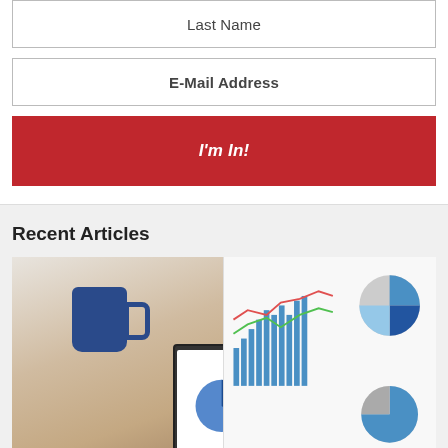Last Name
E-Mail Address
I'm In!
Recent Articles
[Figure (photo): Person holding a smartphone with charts visible, a blue coffee mug and laptop with financial charts in the background]